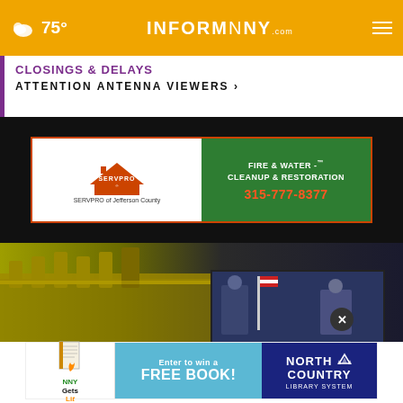75° INFORMNNY.com
CLOSINGS & DELAYS
ATTENTION ANTENNA VIEWERS ›
[Figure (advertisement): SERVPRO advertisement banner: SERVPRO of Jefferson County logo on white left side, green right side reading FIRE & WATER - CLEANUP & RESTORATION with phone number 315-777-8377]
[Figure (photo): Blurred photo of a government building exterior (gold/beige ornate architecture) with a TV screen visible showing news anchors]
[Figure (advertisement): NNY Gets Lit banner ad: Enter to win a FREE BOOK! with North Country Library System logo on dark blue background]